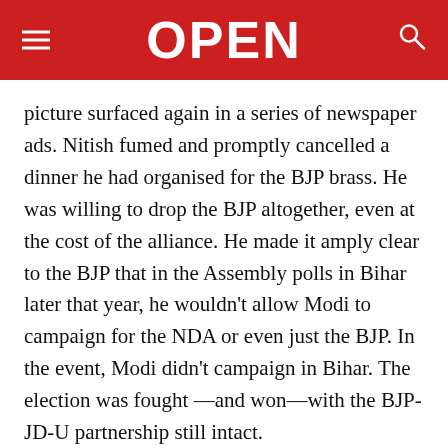OPEN
picture surfaced again in a series of newspaper ads. Nitish fumed and promptly cancelled a dinner he had organised for the BJP brass. He was willing to drop the BJP altogether, even at the cost of the alliance. He made it amply clear to the BJP that in the Assembly polls in Bihar later that year, he wouldn't allow Modi to campaign for the NDA or even just the BJP. In the event, Modi didn't campaign in Bihar. The election was fought —and won—with the BJP-JD-U partnership still intact.
At the recent Vibrant Gujarat conclave, Modi too